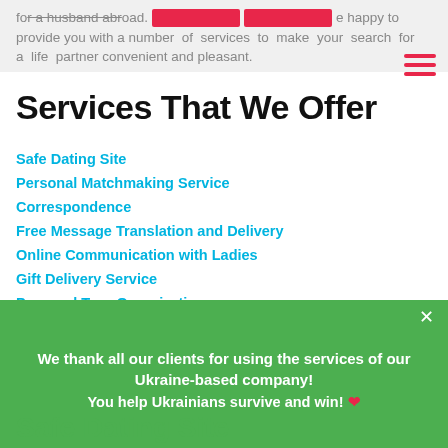for a husband abroad. We are happy to provide you with a number of services to make your search for a life partner convenient and pleasant.
Services That We Offer
Safe Dating Site
Personal Matchmaking Service
Correspondence
Free Message Translation and Delivery
Online Communication with Ladies
Gift Delivery Service
Personal Tour Organization
One-on-One Meeting Organization
Accommodation Booking
Transfer Service to and from the Airport
24/7 Administrator Support
We thank all our clients for using the services of our Ukraine-based company!
You help Ukrainians survive and win! ❤
Safe Dating Site